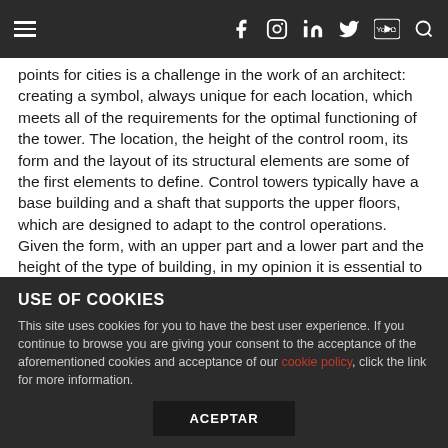Navigation bar with hamburger menu and social icons (facebook, instagram, linkedin, twitter, youtube, search)
points for cities is a challenge in the work of an architect: creating a symbol, always unique for each location, which meets all of the requirements for the optimal functioning of the tower. The location, the height of the control room, its form and the layout of its structural elements are some of the first elements to define. Control towers typically have a base building and a shaft that supports the upper floors, which are designed to adapt to the control operations. Given the form, with an upper part and a lower part and the height of the type of building, in my opinion it is essential to incorporate the construction process into the design of the tower, and this is what I have done in those which I have designed. This design comes from an analysis of the functional aspects, the programme and the location. To create a landmark, the architect must find within the functionality the characteristics that can distinguish one
USE OF COOKIES
This site uses cookies for you to have the best user experience. If you continue to browse you are giving your consent to the acceptance of the aforementioned cookies and acceptance of our cookie policy, click the link for more information.
ACEPTAR